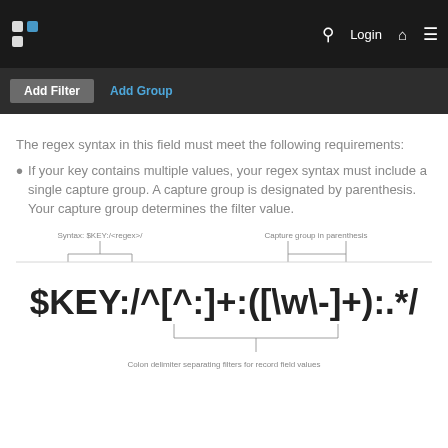Login
[Figure (screenshot): Navigation toolbar with Add Filter and Add Group buttons on dark background]
The regex syntax in this field must meet the following requirements:
If your key contains multiple values, your regex syntax must include a single capture group. A capture group is designated by parenthesis. Your capture group determines the filter value.
[Figure (infographic): Diagram showing $KEY:/^[^:]+:([\w\-]+):.*/ with annotations: 'Syntax: $KEY:/<regex>/' pointing to the key part, 'Capture group in parenthesis' pointing to ([\w\-]+), and 'Colon delimiter separating filters for record field values' pointing to the colons.]